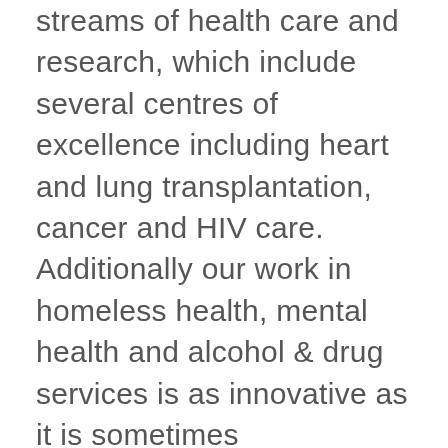streams of health care and research, which include several centres of excellence including heart and lung transplantation, cancer and HIV care. Additionally our work in homeless health, mental health and alcohol & drug services is as innovative as it is sometimes controversial. We've adapted novel treatment programs that we like to call “healthcare at the edge”, because we are willing to extend our care in ways that challenge the usual health care response, ensuring we improve the journey of those people who otherwise might fall through the gaps. In short, at